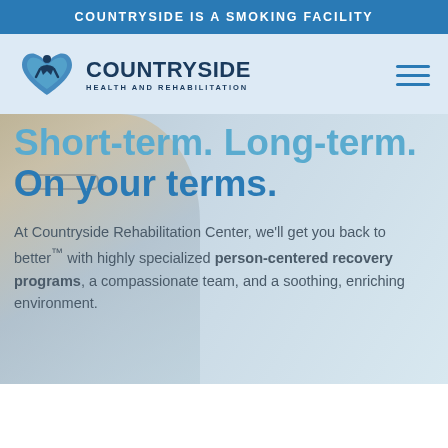COUNTRYSIDE IS A SMOKING FACILITY
[Figure (logo): Countryside Health and Rehabilitation logo with heart and figure icon in dark blue]
Short-term. Long-term. On your terms.
At Countryside Rehabilitation Center, we'll get you back to better™ with highly specialized person-centered recovery programs, a compassionate team, and a soothing, enriching environment.